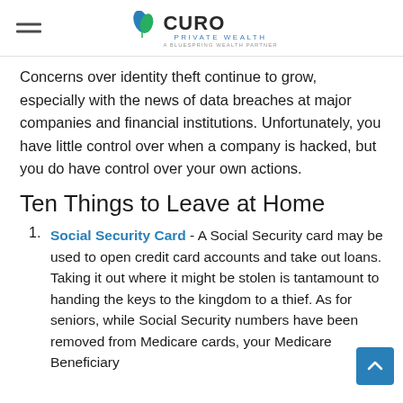CURO PRIVATE WEALTH
Concerns over identity theft continue to grow, especially with the news of data breaches at major companies and financial institutions. Unfortunately, you have little control over when a company is hacked, but you do have control over your own actions.
Ten Things to Leave at Home
Social Security Card - A Social Security card may be used to open credit card accounts and take out loans. Taking it out where it might be stolen is tantamount to handing the keys to the kingdom to a thief. As for seniors, while Social Security numbers have been removed from Medicare cards, your Medicare Beneficiary...